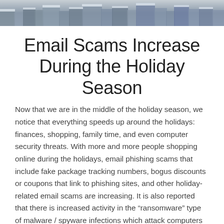[Figure (photo): Aerial or rooftop photograph of a snowy urban area with buildings covered in snow, shown as a cropped strip at the top of the page.]
Email Scams Increase During the Holiday Season
Now that we are in the middle of the holiday season, we notice that everything speeds up around the holidays: finances, shopping, family time, and even computer security threats. With more and more people shopping online during the holidays, email phishing scams that include fake package tracking numbers, bogus discounts or coupons that link to phishing sites, and other holiday-related email scams are increasing. It is also reported that there is increased activity in the “ransomware” type of malware / spyware infections which attack computers and networks. This type of spyware is usually delivered in an email attachment on a compromised